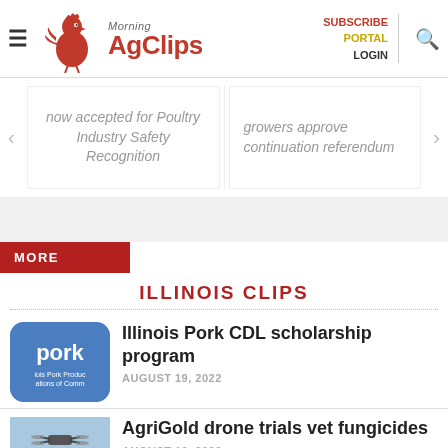Morning AgClips — SUBSCRIBE | PORTAL | LOGIN
now accepted for Poultry Industry Safety Recognition
growers approve continuation referendum
MORE
ILLINOIS CLIPS
Illinois Pork CDL scholarship program
AUGUST 19, 2022
AgriGold drone trials vet fungicides
AUGUST 19, 2022